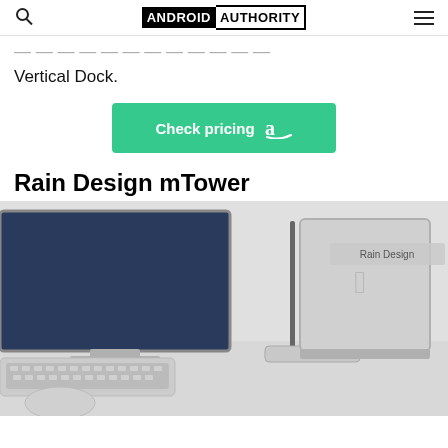ANDROID AUTHORITY
Vertical Dock.
[Figure (other): Check pricing button with Amazon logo on green background]
Rain Design mTower
[Figure (photo): Rain Design mTower vertical laptop dock on a white desk next to an iMac, Apple keyboard, and Magic Mouse. Watermark: Rain Design]